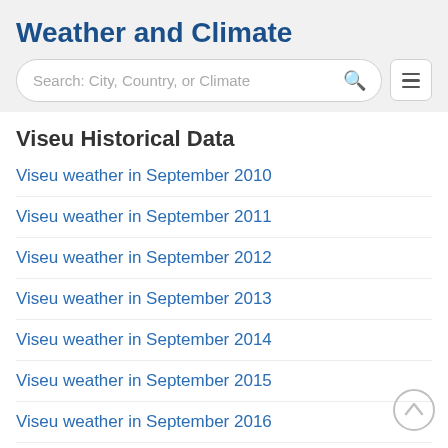Weather and Climate
[Figure (screenshot): Search bar with placeholder text 'Search: City, Country, or Climate' and a hamburger menu button]
Viseu Historical Data
Viseu weather in September 2010
Viseu weather in September 2011
Viseu weather in September 2012
Viseu weather in September 2013
Viseu weather in September 2014
Viseu weather in September 2015
Viseu weather in September 2016
Viseu weather in September 2017